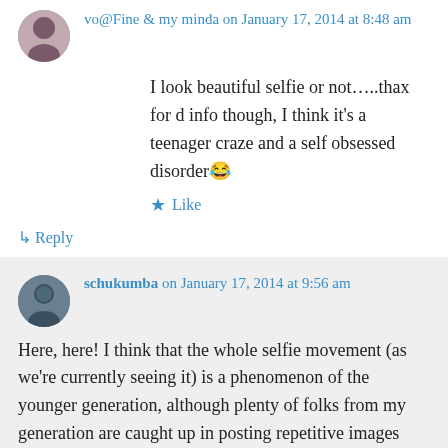vo@Fine & my minda on January 17, 2014 at 8:48 am
I look beautiful selfie or not…..thax for d info though, I think it's a teenager craze and a self obsessed disorder😂
★ Like
↳ Reply
schukumba on January 17, 2014 at 9:56 am
Here, here! I think that the whole selfie movement (as we're currently seeing it) is a phenomenon of the younger generation, although plenty of folks from my generation are caught up in posting repetitive images